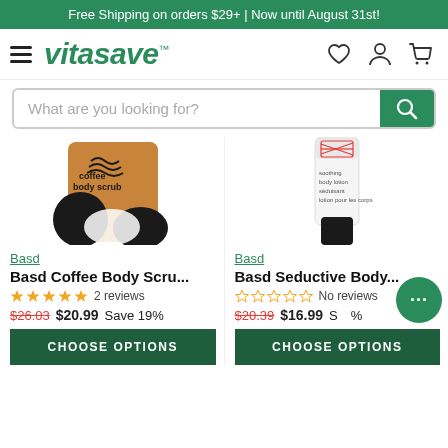Free Shipping on orders $29+ | Now until August 31st!
[Figure (logo): Vitasave logo with hamburger menu and icons for wishlist, account, and cart]
[Figure (screenshot): Search bar with placeholder text 'What are you looking for?' and green search button]
[Figure (photo): Basd Coffee Body Scrub product image - brown kraft paper pouch with black wave designs]
[Figure (photo): Basd Seductive Body Lotion product image - white tube with red striped pattern]
Basd
Basd Coffee Body Scru...
2 reviews
$26.03  $20.99  Save 19%
CHOOSE OPTIONS
Basd
Basd Seductive Body...
No reviews
$20.39  $16.99  Save
CHOOSE OPTIONS